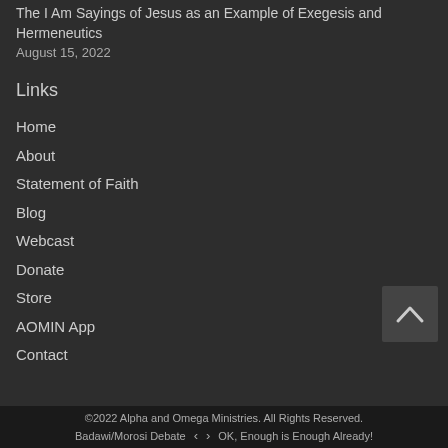The I Am Sayings of Jesus as an Example of Exegesis and Hermeneutics
August 15, 2022
Links
Home
About
Statement of Faith
Blog
Webcast
Donate
Store
AOMIN App
Contact
©2022 Alpha and Omega Ministries. All Rights Reserved. Badawi/Morosi Debate  ‹  ›  OK, Enough is Enough Already!